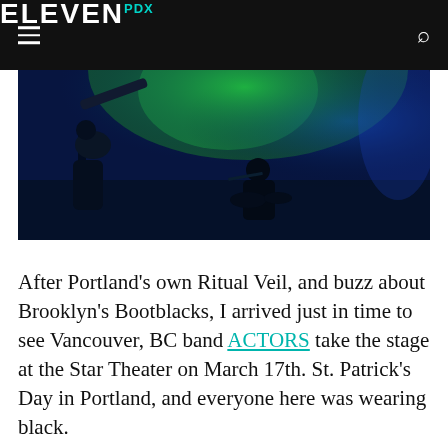ELEVEN PDX
[Figure (photo): Concert photo showing a guitarist on stage with blue and green stage lighting, with a drummer visible in the background]
After Portland’s own Ritual Veil, and buzz about Brooklyn’s Bootblacks, I arrived just in time to see Vancouver, BC band ACTORS take the stage at the Star Theater on March 17th. St. Patrick’s Day in Portland, and everyone here was wearing black.
ACTORS have been on an upward climb since